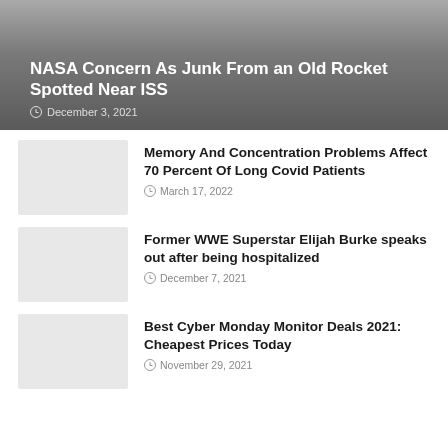[Figure (photo): Hero image with dark gray gradient background showing article headline]
NASA Concern As Junk From an Old Rocket Spotted Near ISS
December 3, 2021
[Figure (photo): Thumbnail image placeholder for Memory And Concentration article]
Memory And Concentration Problems Affect 70 Percent Of Long Covid Patients
March 17, 2022
[Figure (photo): Thumbnail image placeholder for WWE Superstar article]
Former WWE Superstar Elijah Burke speaks out after being hospitalized
December 7, 2021
[Figure (photo): Thumbnail image placeholder for Cyber Monday article]
Best Cyber Monday Monitor Deals 2021: Cheapest Prices Today
November 29, 2021